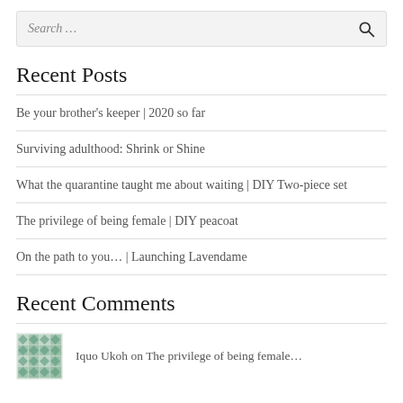[Figure (other): Search bar with placeholder text 'Search ...' and a magnifying glass icon on the right]
Recent Posts
Be your brother's keeper | 2020 so far
Surviving adulthood: Shrink or Shine
What the quarantine taught me about waiting | DIY Two-piece set
The privilege of being female | DIY peacoat
On the path to you… | Launching Lavendame
Recent Comments
Iquo Ukoh on The privilege of being female…